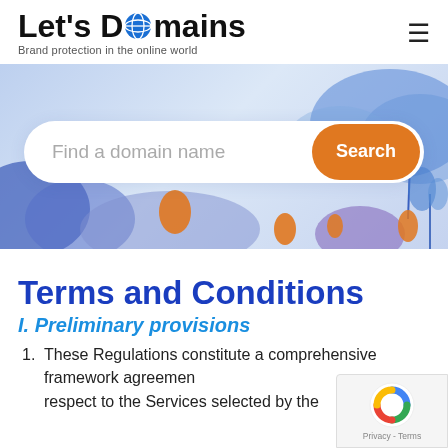Let's Domains — Brand protection in the online world
[Figure (screenshot): Website banner with illustrated landscape background, search bar reading 'Find a domain name' and orange 'Search' button]
Terms and Conditions
I. Preliminary provisions
1. These Regulations constitute a comprehensive framework agreement with respect to the Services selected by the